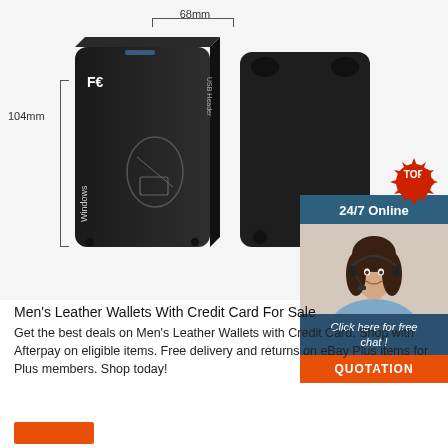[Figure (photo): Product photo of two black USB RFID card readers with dimension annotations: 68mm width, 104mm height, 10mm thickness. A customer service chat widget is overlaid on the right showing '24/7 Online', a woman with a headset, 'Click here for free chat!' and a QUOTATION button. A red 'TOP' badge appears in the lower right.]
Men's Leather Wallets With Credit Card For Sale
Get the best deals on Men's Leather Wallets with Credit Card. Shop with Afterpay on eligible items. Free delivery and returns on eBay Plus items for Plus members. Shop today!